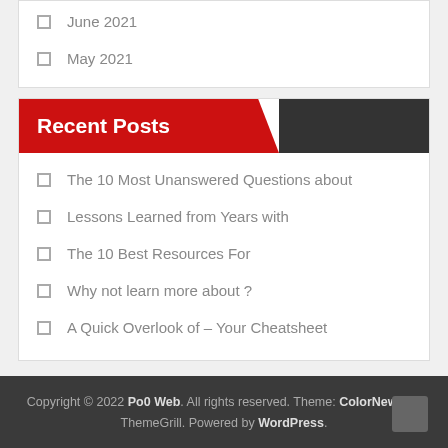June 2021
May 2021
Recent Posts
The 10 Most Unanswered Questions about
Lessons Learned from Years with
The 10 Best Resources For
Why not learn more about ?
A Quick Overlook of – Your Cheatsheet
Copyright © 2022 Po0 Web. All rights reserved. Theme: ColorNews by ThemeGrill. Powered by WordPress.